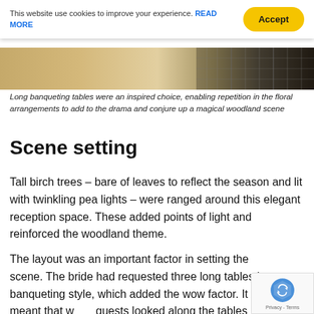This website use cookies to improve your experience. READ MORE  Accept
[Figure (photo): Partial view of banqueting table with floral arrangements and tableware, woodland-themed wedding reception]
Long banqueting tables were an inspired choice, enabling repetition in the floral arrangements to add to the drama and conjure up a magical woodland scene
Scene setting
Tall birch trees – bare of leaves to reflect the season and lit with twinkling pea lights – were ranged around this elegant reception space. These added points of light and reinforced the woodland theme.
The layout was an important factor in setting the scene. The bride had requested three long tables in banqueting style, which added the wow factor. It meant that when guests looked along the tables arrayed with cand… punctuated with greenery, the repetition in design